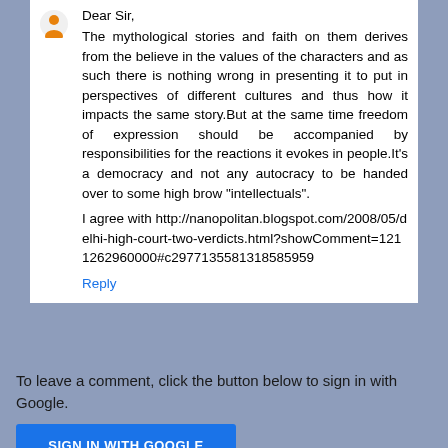Dear Sir,
The mythological stories and faith on them derives from the believe in the values of the characters and as such there is nothing wrong in presenting it to put in perspectives of different cultures and thus how it impacts the same story.But at the same time freedom of expression should be accompanied by responsibilities for the reactions it evokes in people.It's a democracy and not any autocracy to be handed over to some high brow "intellectuals".
I agree with http://nanopolitan.blogspot.com/2008/05/delhi-high-court-two-verdicts.html?showComment=1211262960000#c2977135581318585959
Reply
To leave a comment, click the button below to sign in with Google.
SIGN IN WITH GOOGLE